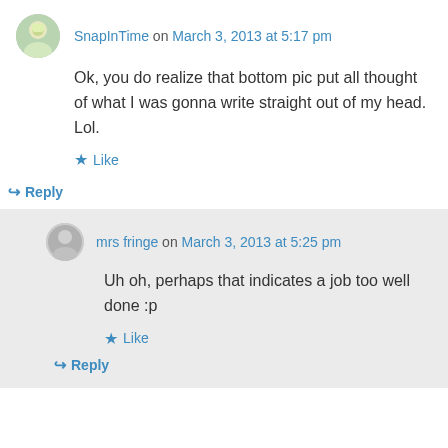SnapInTime on March 3, 2013 at 5:17 pm
Ok, you do realize that bottom pic put all thought of what I was gonna write straight out of my head. Lol.
Like
Reply
mrs fringe on March 3, 2013 at 5:25 pm
Uh oh, perhaps that indicates a job too well done :p
Like
Reply